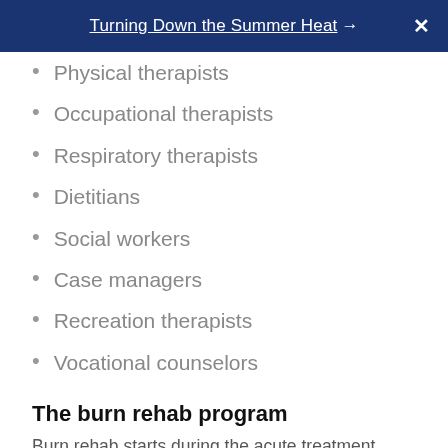Turning Down the Summer Heat →  X
Physical therapists
Occupational therapists
Respiratory therapists
Dietitians
Social workers
Case managers
Recreation therapists
Vocational counselors
The burn rehab program
Burn rehab starts during the acute treatment phase. And, it may last days to months to years, depending on the extent of the burn. A burn rehab program aims to